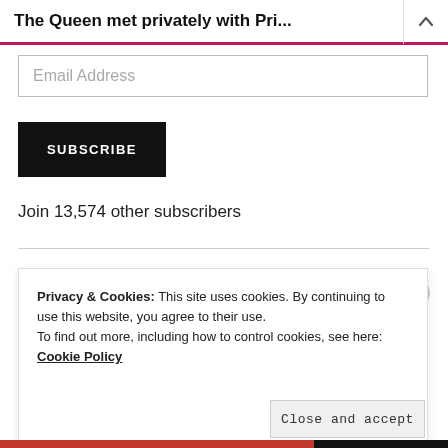The Queen met privately with Pri...
Email Address
SUBSCRIBE
Join 13,574 other subscribers
Privacy & Cookies: This site uses cookies. By continuing to use this website, you agree to their use.
To find out more, including how to control cookies, see here: Cookie Policy
Close and accept